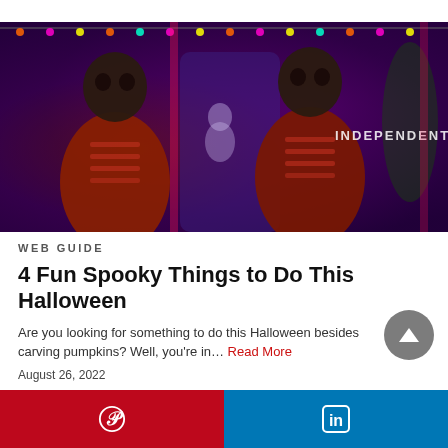[Figure (photo): Two large Halloween skeleton decorations lit with red/purple lighting in a decorated room, with an 'INDEPENDENT' watermark logo in the upper right corner and string lights along the top]
WEB GUIDE
4 Fun Spooky Things to Do This Halloween
Are you looking for something to do this Halloween besides carving pumpkins? Well, you're in… Read More
August 26, 2022
Pinterest | LinkedIn